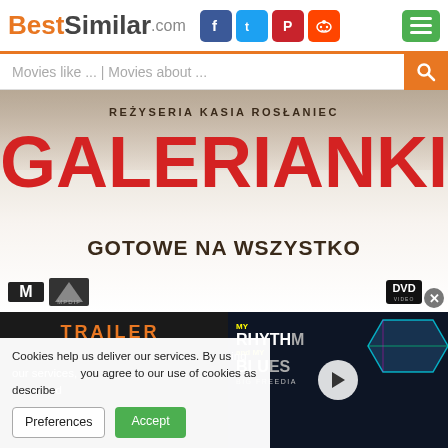BestSimilar.com
Movies like ... | Movies about ...
[Figure (photo): Movie DVD cover for Galerianki - Gotowe na Wszystko, directed by Kasia Roslaniec. Large red bold text GALERIANKI on white/beige background with subtitle text GOTOWE NA WSZYSTKO below. Polish film with studio logos bottom left, DVD badge bottom right.]
TRAILER
Cookies help us deliver our services. By using our services, you agree to our use of cookies as described
Preferences
Accept